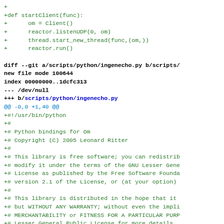diff --git code snippet showing startClient function and ingenecho.py file